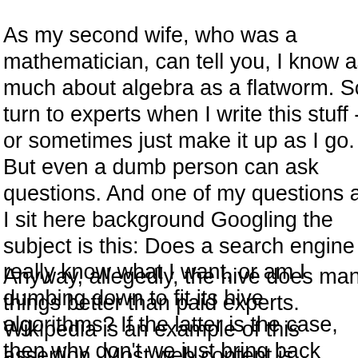As my second wife, who was a mathematician, can tell you, I know as much about algebra as a flatworm. So I turn to experts when I write this stuff -- or sometimes just make it up as I go. But even a dumb person can ask questions. And one of my questions as I sit here background Googling the subject is this: Does a search engine really know what I want, or am I dumbing down to fit its hive algorithms? If the latter is the case, then why don’t we just bring back PCP?
Anyway, allegedly, the hive does many things better than paid experts. Wikipedia is an example of this assertion. Most web content is generated by hive inhabitants for free, profiting the new elite cybernetic